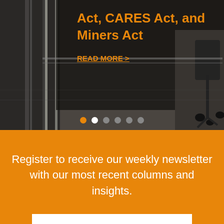[Figure (photo): Dark background photo of an office environment with a chair visible on the right side. A dark semi-transparent overlay covers the left-center area containing the title text.]
Act, CARES Act, and Miners Act
READ MORE >
Register to receive our weekly newsletter with our most recent columns and insights.